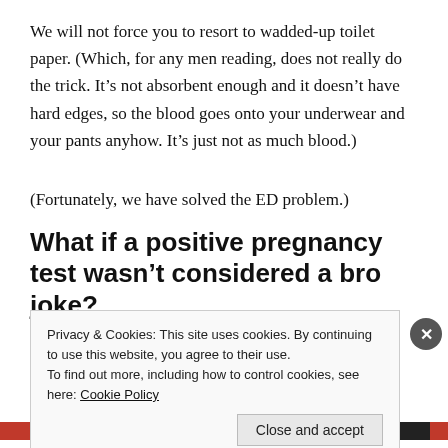We will not force you to resort to wadded-up toilet paper. (Which, for any men reading, does not really do the trick. It’s not absorbent enough and it doesn’t have hard edges, so the blood goes onto your underwear and your pants anyhow. It’s just not as much blood.)
(Fortunately, we have solved the ED problem.)
What if a positive pregnancy test wasn’t considered a bro joke?
Mailchimp wanted to be funny.
Privacy & Cookies: This site uses cookies. By continuing to use this website, you agree to their use.
To find out more, including how to control cookies, see here: Cookie Policy
Close and accept